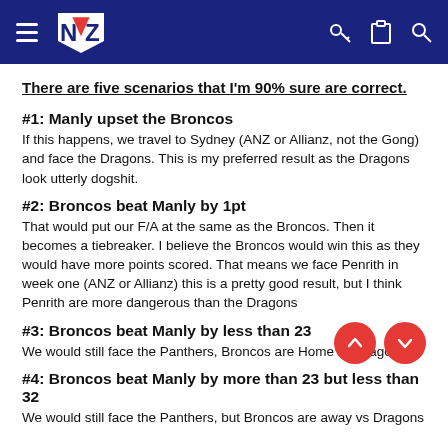NZ logo navigation bar with hamburger menu, key, clipboard, and search icons
There are five scenarios that I'm 90% sure are correct.
#1: Manly upset the Broncos
If this happens, we travel to Sydney (ANZ or Allianz, not the Gong) and face the Dragons. This is my preferred result as the Dragons look utterly dogshit.
#2: Broncos beat Manly by 1pt
That would put our F/A at the same as the Broncos. Then it becomes a tiebreaker. I believe the Broncos would win this as they would have more points scored. That means we face Penrith in week one (ANZ or Allianz) this is a pretty good result, but I think Penrith are more dangerous than the Dragons
#3: Broncos beat Manly by less than 23
We would still face the Panthers, Broncos are Home vs Dragons
#4: Broncos beat Manly by more than 23 but less than 32
We would still face the Panthers, but Broncos are away vs Dragons